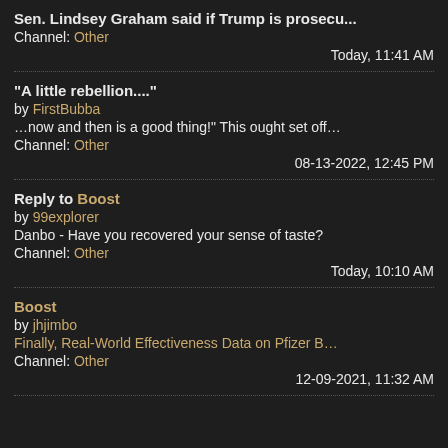Sen. Lindsey Graham said if Trump is prosecu...
by [username truncated]
Channel: Other
Today, 11:41 AM
"A little rebellion...."
by FirstBubba
...now and then is a good thing!" This ought set off...
Channel: Other
08-13-2022, 12:45 PM
Reply to Boost
by 99explorer
Danbo - Have you recovered your sense of taste?
Channel: Other
Today, 10:10 AM
Boost
by jhjimbo
Finally, Real-World Effectiveness Data on Pfizer B...
Channel: Other
12-09-2021, 11:32 AM